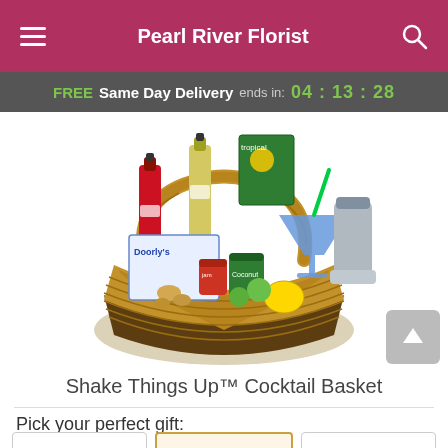Pearl River Florist
FREE Same Day Delivery ends in: 04 : 13 : 28
[Figure (photo): A wicker gift basket filled with cocktail-making items including bottles of liquor, a cocktail shaker, limes, fruit, and cocktail mix cans.]
Shake Things Up™ Cocktail Basket
Pick your perfect gift: